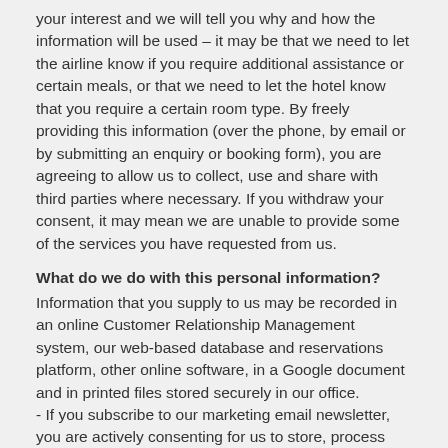your interest and we will tell you why and how the information will be used – it may be that we need to let the airline know if you require additional assistance or certain meals, or that we need to let the hotel know that you require a certain room type. By freely providing this information (over the phone, by email or by submitting an enquiry or booking form), you are agreeing to allow us to collect, use and share with third parties where necessary. If you withdraw your consent, it may mean we are unable to provide some of the services you have requested from us.
What do we do with this personal information?
Information that you supply to us may be recorded in an online Customer Relationship Management system, our web-based database and reservations platform, other online software, in a Google document and in printed files stored securely in our office. - If you subscribe to our marketing email newsletter, you are actively consenting for us to store, process and use your information. These details are used for email marketing purposes only - your details are stored within Mailchimp (including email address and subscriber activity plus a name if provided) and will not be passed on to any third parties. - If you request a quotation from us by filling in one of the quote forms on our website, all information you provide (including